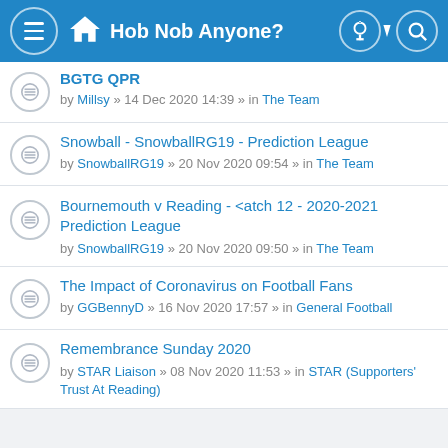Hob Nob Anyone?
BGTG QPR — by Millsy » 14 Dec 2020 14:39 » in The Team
Snowball - SnowballRG19 - Prediction League — by SnowballRG19 » 20 Nov 2020 09:54 » in The Team
Bournemouth v Reading - <atch 12 - 2020-2021 Prediction League — by SnowballRG19 » 20 Nov 2020 09:50 » in The Team
The Impact of Coronavirus on Football Fans — by GGBennyD » 16 Nov 2020 17:57 » in General Football
Remembrance Sunday 2020 — by STAR Liaison » 08 Nov 2020 11:53 » in STAR (Supporters' Trust At Reading)